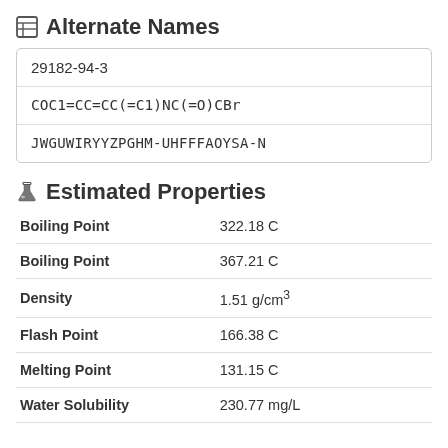Alternate Names
| 29182-94-3 |
| COC1=CC=CC(=C1)NC(=O)CBr |
| JWGUWIRYYZPGHM-UHFFFAOYSA-N |
Estimated Properties
| Boiling Point | 322.18 C |
| Boiling Point | 367.21 C |
| Density | 1.51 g/cm³ |
| Flash Point | 166.38 C |
| Melting Point | 131.15 C |
| Water Solubility | 230.77 mg/L |